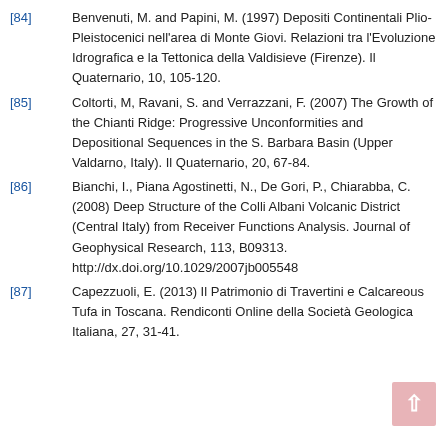[84] Benvenuti, M. and Papini, M. (1997) Depositi Continentali Plio-Pleistocenici nell'area di Monte Giovi. Relazioni tra l'Evoluzione Idrografica e la Tettonica della Valdisieve (Firenze). Il Quaternario, 10, 105-120.
[85] Coltorti, M, Ravani, S. and Verrazzani, F. (2007) The Growth of the Chianti Ridge: Progressive Unconformities and Depositional Sequences in the S. Barbara Basin (Upper Valdarno, Italy). Il Quaternario, 20, 67-84.
[86] Bianchi, I., Piana Agostinetti, N., De Gori, P., Chiarabba, C. (2008) Deep Structure of the Colli Albani Volcanic District (Central Italy) from Receiver Functions Analysis. Journal of Geophysical Research, 113, B09313. http://dx.doi.org/10.1029/2007jb005548
[87] Capezzuoli, E. (2013) Il Patrimonio di Travertini e Calcareous Tufa in Toscana. Rendiconti Online della Società Geologica Italiana, 27, 31-41.